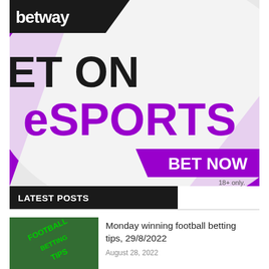[Figure (illustration): Betway advertisement banner showing 'BET ON eSPORTS' with a 'BET NOW' call-to-action button and '18+ only.' disclaimer. Purple and black color scheme on a light grey curved background.]
LATEST POSTS
[Figure (photo): Thumbnail image showing green glittery text reading 'FOOTBALL BETTING TIPS']
Monday winning football betting tips, 29/8/2022
August 28, 2022